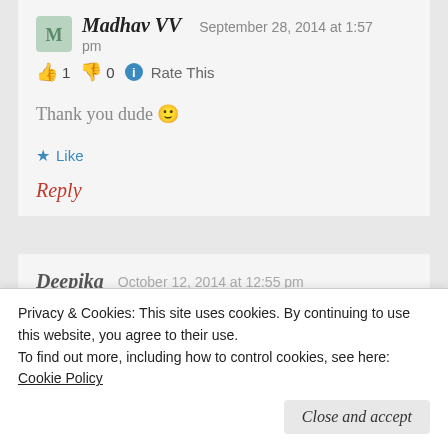Madhav VV   September 28, 2014 at 1:57 pm
👍 1 👎 0 ℹ Rate This
Thank you dude 🙂
★ Like
Reply
Deepika   October 12, 2014 at 12:55 pm
Privacy & Cookies: This site uses cookies. By continuing to use this website, you agree to their use.
To find out more, including how to control cookies, see here:
Cookie Policy
Close and accept